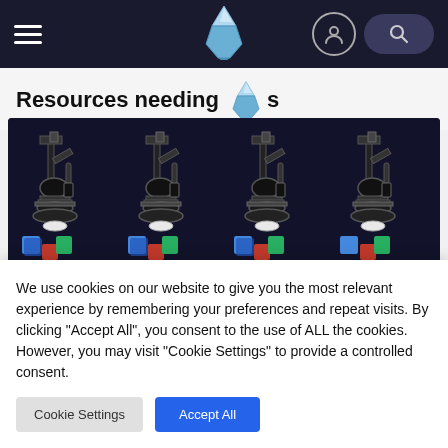Navigation bar with hamburger menu, logo (iceberg), user icon, and search button
Resources needing s
[Figure (illustration): Dark background image showing four repeated microscope illustrations each accompanied by colored 3D blocks (blue, red, green cubes)]
Microscopy Blocks (deprecated)
We use cookies on our website to give you the most relevant experience by remembering your preferences and repeat visits. By clicking "Accept All", you consent to the use of ALL the cookies. However, you may visit "Cookie Settings" to provide a controlled consent.